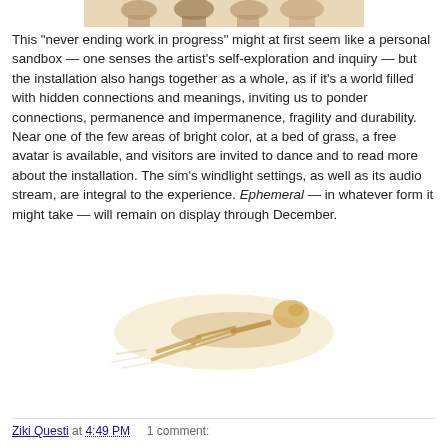[Figure (illustration): Partial decorative image strip at top of page showing artistic avatar figures in sepia/brown tones]
This "never ending work in progress" might at first seem like a personal sandbox — one senses the artist's self-exploration and inquiry — but the installation also hangs together as a whole, as if it's a world filled with hidden connections and meanings, inviting us to ponder connections, permanence and impermanence, fragility and durability. Near one of the few areas of bright color, at a bed of grass, a free avatar is available, and visitors are invited to dance and to read more about the installation. The sim's windlight settings, as well as its audio stream, are integral to the experience. Ephemeral — in whatever form it might take — will remain on display through December.
[Figure (illustration): Sepia-toned illustration of a skeletal or robotic figure reclining or lying on a surface, rendered in a light tan/gold palette]
Ziki Questi at 4:49 PM    1 comment: